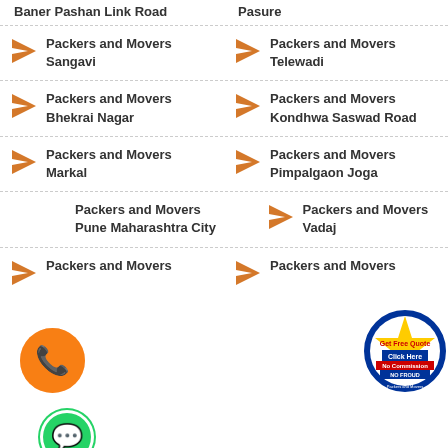Baner Pashan Link Road
Pasure
Packers and Movers Sangavi
Packers and Movers Telewadi
Packers and Movers Bhekrai Nagar
Packers and Movers Kondhwa Saswad Road
Packers and Movers Markal
Packers and Movers Pimpalgaon Joga
Packers and Movers Pune Maharashtra City
Packers and Movers Vadaj
Packers and Movers
Packers and Movers